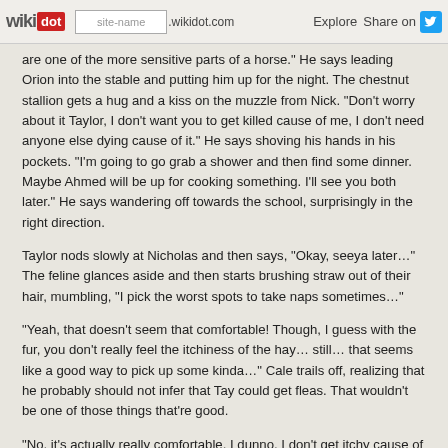wikidot | site-name .wikidot.com | Explore | Share on
are one of the more sensitive parts of a horse." He says leading Orion into the stable and putting him up for the night. The chestnut stallion gets a hug and a kiss on the muzzle from Nick. "Don't worry about it Taylor, I don't want you to get killed cause of me, I don't need anyone else dying cause of it." He says shoving his hands in his pockets. "I'm going to go grab a shower and then find some dinner. Maybe Ahmed will be up for cooking something. I'll see you both later." He says wandering off towards the school, surprisingly in the right direction.
Taylor nods slowly at Nicholas and then says, "Okay, seeya later…" The feline glances aside and then starts brushing straw out of their hair, mumbling, "I pick the worst spots to take naps sometimes…"
"Yeah, that doesn't seem that comfortable! Though, I guess with the fur, you don't really feel the itchiness of the hay… still… that seems like a good way to pick up some kinda…" Cale trails off, realizing that he probably should not infer that Tay could get fleas. That wouldn't be one of those things that're good.
"No, it's actually really comfortable, I dunno, I don't get itchy cause of the hay, and it's kind of soft, but it gets into my hair and my fur," says Taylor, shrugging lightly, "Even though I don't like having fur, I like keeping it clean…"
"I can understand that…" Cale rubs one of his arms,